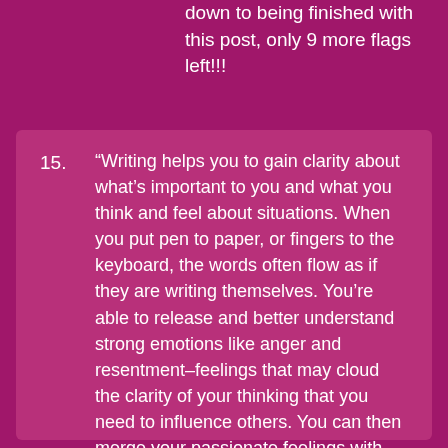down to being finished with this post, only 9 more flags left!!!
15. “Writing helps you to gain clarity about what’s important to you and what you think and feel about situations. When you put pen to paper, or fingers to the keyboard, the words often flow as if they are writing themselves. You’re able to release and better understand strong emotions like anger and resentment–feelings that may cloud the clarity of your thinking that you need to influence others. You can then merge your passionate feelings with logic and clarity” — Kahnweiler, 2013, p. 112